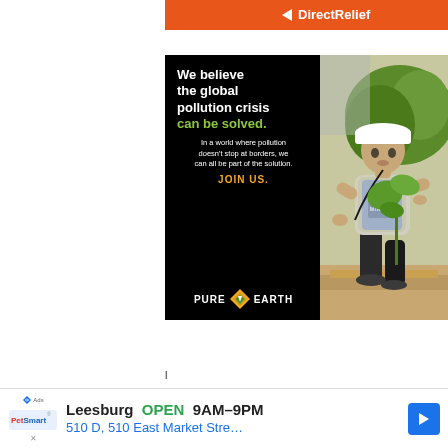[Figure (other): DirectRelief orange banner with logo at top]
[Figure (other): Pure Earth advertisement showing a man in a hard hat planting a tree seedling. Left black panel reads: 'We believe the global pollution crisis can be solved. In a world where pollution doesn't stop at borders, we can all be part of the solution. JOIN US. PURE EARTH']
[Figure (other): PetSmart advertisement banner at bottom: 'Leesburg OPEN 9AM-9PM 510 D, 510 East Market Stre...' with blue arrow navigation icon]